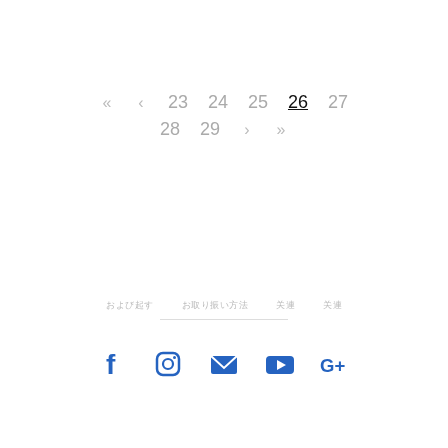Pagination: << < 23 24 25 26 27 28 29 > >>
Footer links: [redacted text links]
[Figure (other): Social media icons row: Facebook, Instagram, Email, YouTube, Google+]